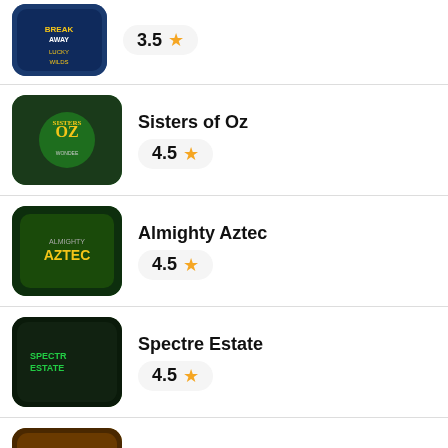3.5 star rating
Sisters of Oz, 4.5 star rating
Almighty Aztec, 4.5 star rating
Spectre Estate, 4.5 star rating
Fortunium Gold Mega Moolah, 4.5 star rating
Noble Sky, 5 star rating